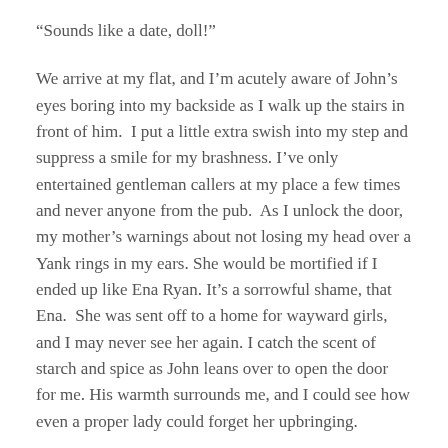“Sounds like a date, doll!”
We arrive at my flat, and I’m acutely aware of John’s eyes boring into my backside as I walk up the stairs in front of him.  I put a little extra swish into my step and suppress a smile for my brashness. I’ve only entertained gentleman callers at my place a few times and never anyone from the pub.  As I unlock the door, my mother’s warnings about not losing my head over a Yank rings in my ears. She would be mortified if I ended up like Ena Ryan. It’s a sorrowful shame, that Ena.  She was sent off to a home for wayward girls, and I may never see her again. I catch the scent of starch and spice as John leans over to open the door for me. His warmth surrounds me, and I could see how even a proper lady could forget her upbringing.
I take off my coat and tell him to make himself at